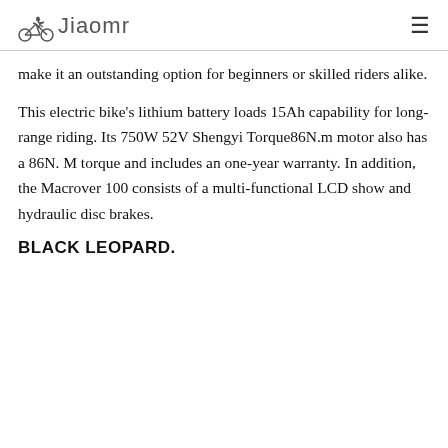Jiaomr
make it an outstanding option for beginners or skilled riders alike.
This electric bike's lithium battery loads 15Ah capability for long-range riding. Its 750W 52V Shengyi Torque86N.m motor also has a 86N. M torque and includes an one-year warranty. In addition, the Macrover 100 consists of a multi-functional LCD show and hydraulic disc brakes.
BLACK LEOPARD.